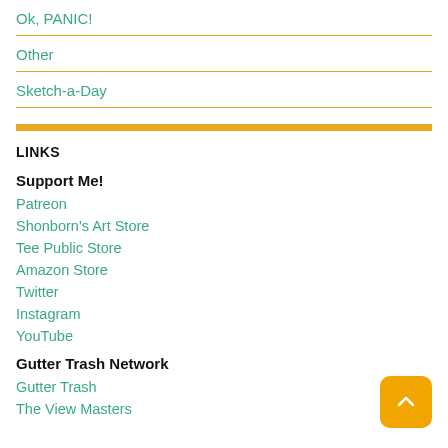Ok, PANIC!
Other
Sketch-a-Day
LINKS
Support Me!
Patreon
Shonborn's Art Store
Tee Public Store
Amazon Store
Twitter
Instagram
YouTube
Gutter Trash Network
Gutter Trash
The View Masters